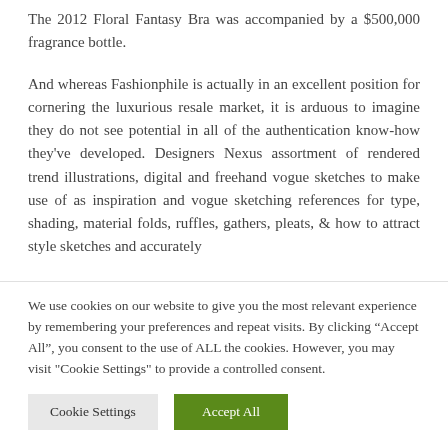The 2012 Floral Fantasy Bra was accompanied by a $500,000 fragrance bottle.
And whereas Fashionphile is actually in an excellent position for cornering the luxurious resale market, it is arduous to imagine they do not see potential in all of the authentication know-how they've developed. Designers Nexus assortment of rendered trend illustrations, digital and freehand vogue sketches to make use of as inspiration and vogue sketching references for type, shading, material folds, ruffles, gathers, pleats, & how to attract style sketches and accurately
We use cookies on our website to give you the most relevant experience by remembering your preferences and repeat visits. By clicking “Accept All”, you consent to the use of ALL the cookies. However, you may visit "Cookie Settings" to provide a controlled consent.